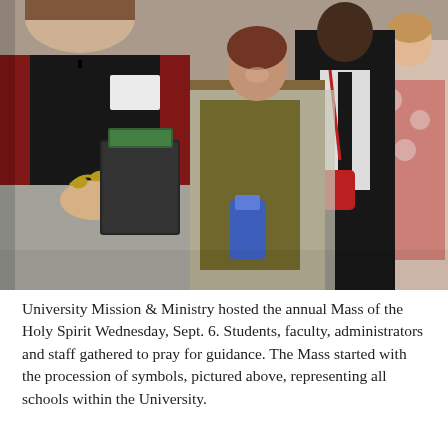[Figure (photo): A procession of people walking indoors, carrying symbolic items. In the foreground, a man wearing a black vest, red shirt, and patterned bow tie holds a golden laurel branch and a black binder. Behind him, a smiling woman in an olive top and light cardigan carries a blue decorative item. Further back, a tall man in a dark suit and tie holds a red object. A woman in a floral dress is visible at the far right. The setting appears to be the lobby or hallway of a university building.]
University Mission & Ministry hosted the annual Mass of the Holy Spirit Wednesday, Sept. 6. Students, faculty, administrators and staff gathered to pray for guidance. The Mass started with the procession of symbols, pictured above, representing all schools within the University.